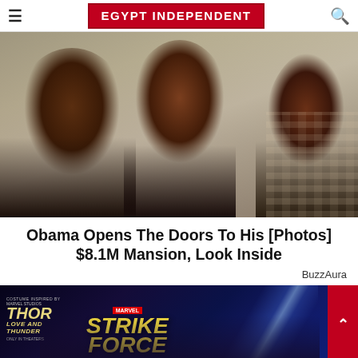EGYPT INDEPENDENT
[Figure (photo): Three people posing together — a woman on the left in a black outfit with hoop earrings, a younger woman in the center, and a man on the right in a plaid shirt]
Obama Opens The Doors To His [Photos] $8.1M Mansion, Look Inside
BuzzAura
[Figure (photo): Advertisement banner for Thor: Love and Thunder / Marvel Strike Force mobile game with dark blue background, lightning effects, and game characters]